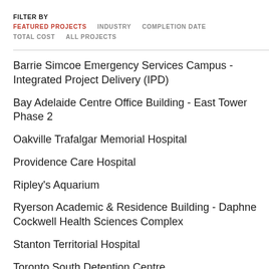FILTER BY
FEATURED PROJECTS
INDUSTRY
COMPLETION DATE
TOTAL COST
ALL PROJECTS
Barrie Simcoe Emergency Services Campus - Integrated Project Delivery (IPD)
Bay Adelaide Centre Office Building - East Tower Phase 2
Oakville Trafalgar Memorial Hospital
Providence Care Hospital
Ripley's Aquarium
Ryerson Academic & Residence Building - Daphne Cockwell Health Sciences Complex
Stanton Territorial Hospital
Toronto South Detention Centre